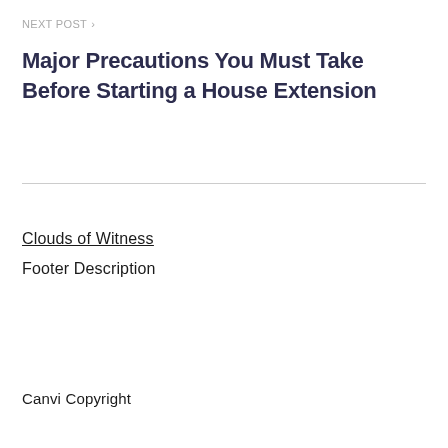NEXT POST >
Major Precautions You Must Take Before Starting a House Extension
Clouds of Witness
Footer Description
Canvi Copyright